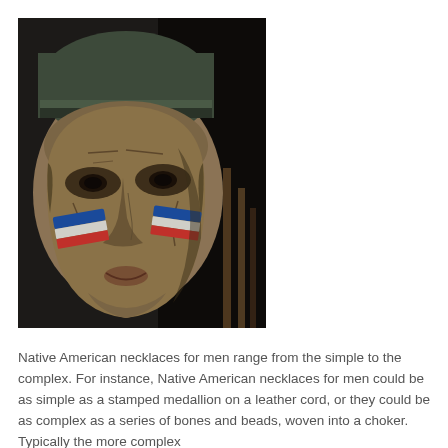[Figure (photo): Close-up photograph of a carved wooden Native American chief bust/figurehead with painted facial markings — blue, white, and red stripes on the cheeks — wearing a headdress. The carving has detailed facial features including wrinkles and a solemn expression. Dark background.]
Native American necklaces for men range from the simple to the complex. For instance, Native American necklaces for men could be as simple as a stamped medallion on a leather cord, or they could be as complex as a series of bones and beads, woven into a choker. Typically the more complex